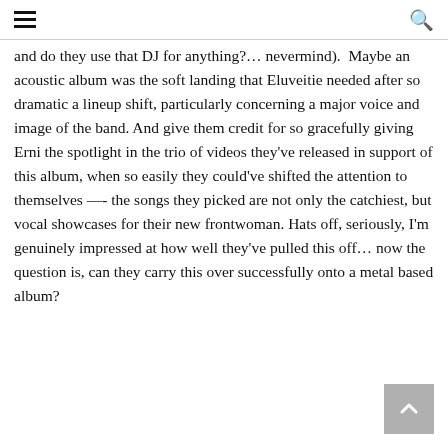and do they use that DJ for anything?… nevermind).  Maybe an acoustic album was the soft landing that Eluveitie needed after so dramatic a lineup shift, particularly concerning a major voice and image of the band. And give them credit for so gracefully giving Erni the spotlight in the trio of videos they've released in support of this album, when so easily they could've shifted the attention to themselves —- the songs they picked are not only the catchiest, but vocal showcases for their new frontwoman. Hats off, seriously, I'm genuinely impressed at how well they've pulled this off… now the question is, can they carry this over successfully onto a metal based album?